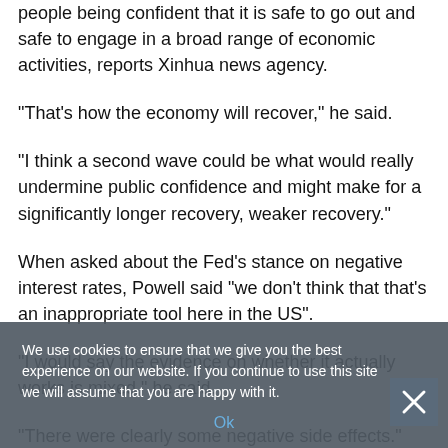people being confident that it is safe to go out and safe to engage in a broad range of economic activities, reports Xinhua news agency.
“That’s how the economy will recover,” he said.
“I think a second wave could be what would really undermine public confidence and might make for a significantly longer recovery, weaker recovery.”
When asked about the Fed’s stance on negative interest rates, Powell said “we don’t think that that’s an inappropriate tool here in the US”.
“I would say the evidence on whether it actually works is mixed,” he said.
“There were clearly some negative side effects.”
We use cookies to ensure that we give you the best experience on our website. If you continue to use this site we will assume that you are happy with it.
Ok